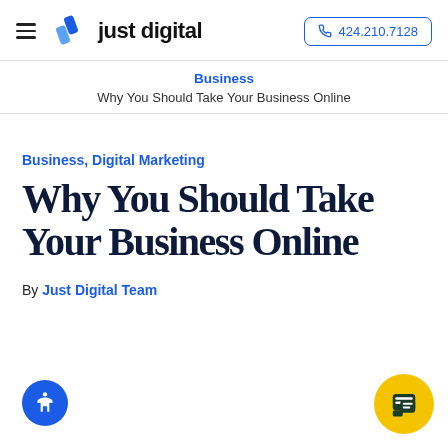just digital | 424.210.7128
Business
Why You Should Take Your Business Online
Business, Digital Marketing
Why You Should Take Your Business Online
By Just Digital Team